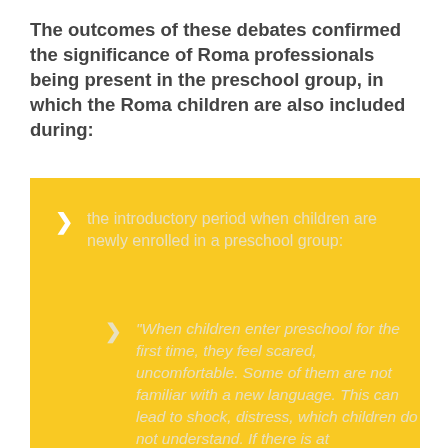The outcomes of these debates confirmed the significance of Roma professionals being present in the preschool group, in which the Roma children are also included during:
the introductory period when children are newly enrolled in a preschool group:
"When children enter preschool for the first time, they feel scared, uncomfortable. Some of them are not familiar with a new language. This can lead to shock, distress, which children do not understand. If there is at